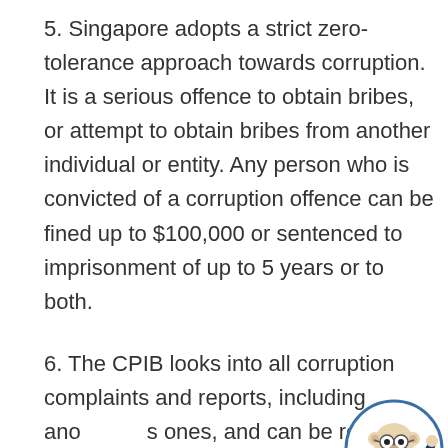5. Singapore adopts a strict zero-tolerance approach towards corruption. It is a serious offence to obtain bribes, or attempt to obtain bribes from another individual or entity. Any person who is convicted of a corruption offence can be fined up to $100,000 or sentenced to imprisonment of up to 5 years or to both.
6. The CPIB looks into all corruption complaints and reports, including anonymous ones, and can be reached via the following channels:
[Figure (illustration): A cartoon mascot character — a bear or similar animal wearing a navy suit with a red tie, glasses, and waving one hand, enclosed in a blue circle.]